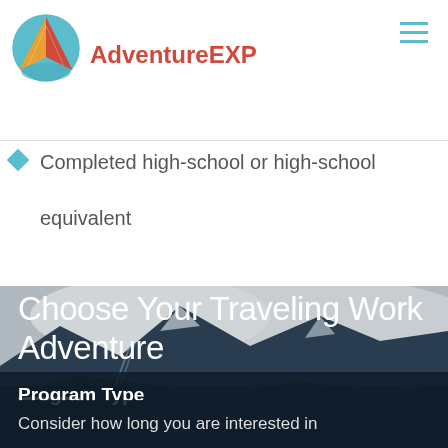AdventureEXP
Completed high-school or high-school equivalent
[Figure (photo): Mountain landscape with rocky cliffs and overcast sky, dark teal-toned photo used as section background]
Choose Your Traveling Work Adventure
Program Type
Consider how long you are interested in